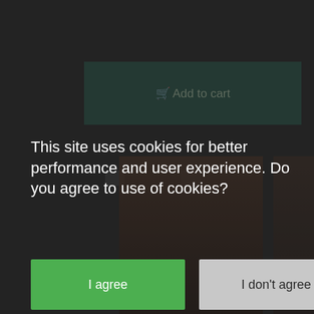[Figure (screenshot): Dark e-commerce website background with an 'Add to cart' button in dark green, some icon elements, and product images (brown containers/canisters) partially visible at the bottom. A cookie consent overlay dialog is displayed on top.]
This site uses cookies for better performance and user experience. Do you agree to use of cookies?
I agree
I don't agree